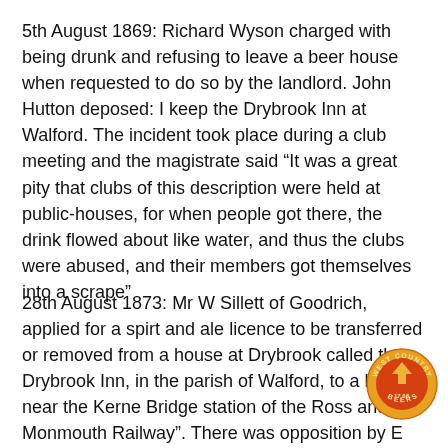5th August 1869: Richard Wyson charged with being drunk and refusing to leave a beer house when requested to do so by the landlord. John Hutton deposed: I keep the Drybrook Inn at Walford. The incident took place during a club meeting and the magistrate said “It was a great pity that clubs of this description were held at public-houses, for when people got there, the drink flowed about like water, and thus the clubs were abused, and their members got themselves into a scrape”
28th August 1873: Mr W Sillett of Goodrich, applied for a spirt and ale licence to be transferred or removed from a house at Drybrook called the Drybrook Inn, in the parish of Walford, to a house near the Kerne Bridge station of the Ross and Monmouth Railway”. There was opposition by E Jones of the Albion Inn, Walford because the alehouse very close to his, however as Mr Partridge had taken down a
[Figure (logo): West Country Beers circular logo with orange and red design]